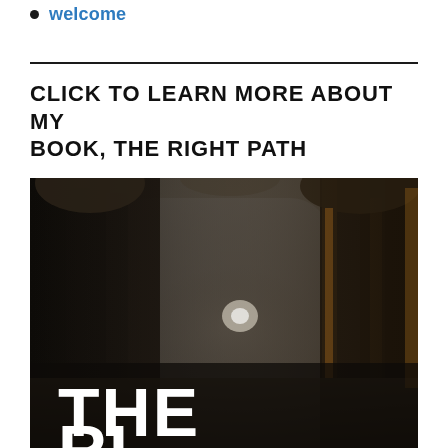welcome
CLICK TO LEARN MORE ABOUT MY BOOK, THE RIGHT PATH
[Figure (photo): Book cover image for 'The Right Path' showing a misty forest with tall trees. Large white bold text at the bottom reads 'THE' and partially 'RI...' (beginning of RIGHT PATH).]